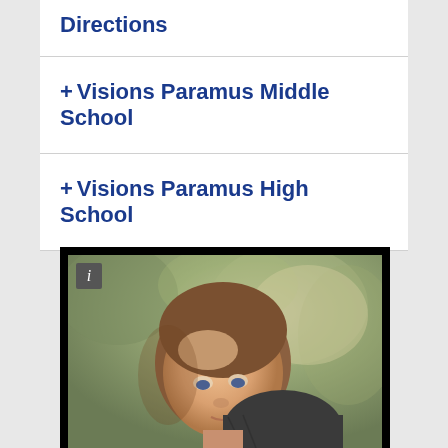Directions
+ Visions Paramus Middle School
+ Visions Paramus High School
[Figure (photo): A child looking upward outdoors with blurred green foliage in the background, with a black border frame and an info icon badge in the top left corner.]